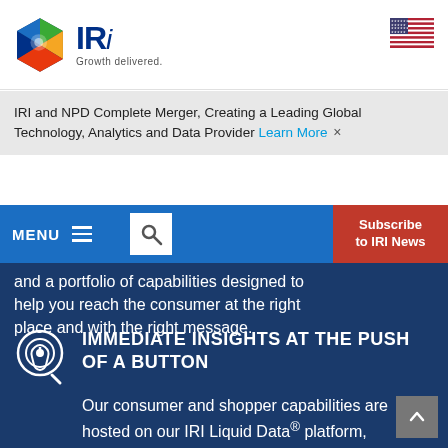[Figure (logo): IRI logo with colorful hexagonal gem icon and text 'IRi Growth delivered.']
[Figure (illustration): US flag icon in top right corner]
IRI and NPD Complete Merger, Creating a Leading Global Technology, Analytics and Data Provider Learn More
MENU (hamburger icon) (search icon) and a portfolio of capabilities designed to help you reach the consumer at the right place and with the right message.
Subscribe to IRI News
IMMEDIATE INSIGHTS AT THE PUSH OF A BUTTON
Our consumer and shopper capabilities are hosted on our IRI Liquid Data® platform, enabling